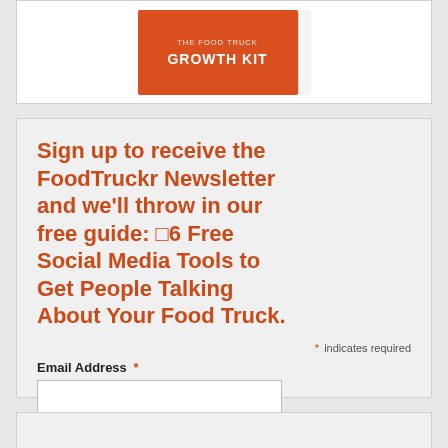[Figure (illustration): Book cover for 'The Food Truck Growth Kit' shown as a red book with white text on a light background card]
Sign up to receive the FoodTruckr Newsletter and we'll throw in our free guide: ■6 Free Social Media Tools to Get People Talking About Your Food Truck.
* indicates required
Email Address *
Subscribe